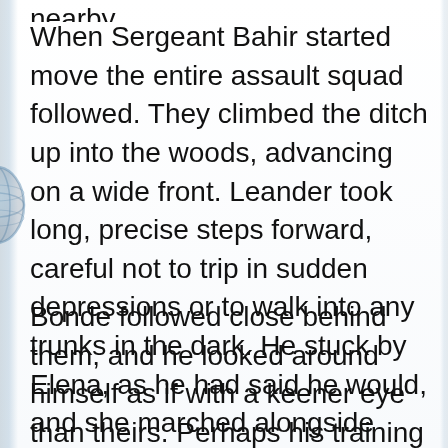nearby.
When Sergeant Bahir started move the entire assault squad followed. They climbed the ditch up into the woods, advancing on a wide front. Leander took long, precise steps forward, careful not to trip in sudden depressions or to walk into any trunks in the dark. He stuck by Elena, as he had said he would, and she marched alongside him.
Bonde followed close behind them, and he looked around himself as if with a keener eye than theirs. Perhaps his training taught him something to look out